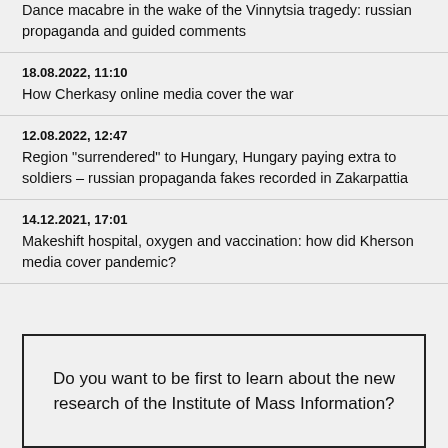Dance macabre in the wake of the Vinnytsia tragedy: russian propaganda and guided comments
18.08.2022, 11:10
How Cherkasy online media cover the war
12.08.2022, 12:47
Region "surrendered" to Hungary, Hungary paying extra to soldiers – russian propaganda fakes recorded in Zakarpattia
14.12.2021, 17:01
Makeshift hospital, oxygen and vaccination: how did Kherson media cover pandemic?
Do you want to be first to learn about the new research of the Institute of Mass Information?